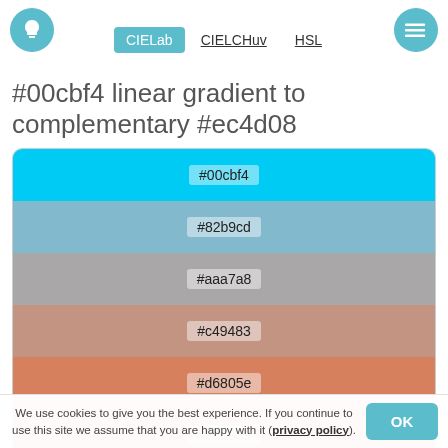CIELab  CIELCHuv  HSL
#00cbf4 linear gradient to complementary #ec4d08
[Figure (infographic): Linear gradient color swatch card showing 7 color steps from #00cbf4 (cyan) to #ec4d08 (orange-red), with intermediate colors #82b9cd, #aaa7a8, #c49483, #d6805e, #e36939.]
Monochromatic Colors
We use cookies to give you the best experience. If you continue to use this site we assume that you are happy with it (privacy policy).